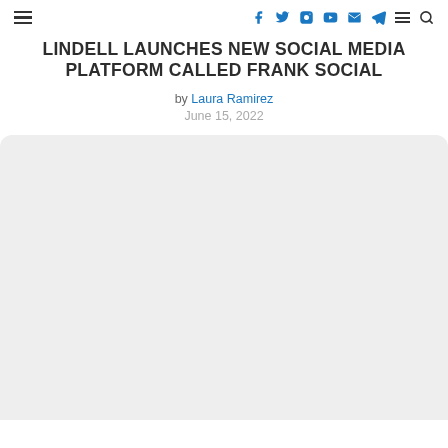Navigation header with hamburger menu and social icons (Facebook, Twitter, Instagram, YouTube, Email, Telegram, Menu, Search)
LINDELL LAUNCHES NEW SOCIAL MEDIA PLATFORM CALLED FRANK SOCIAL
by Laura Ramirez
June 15, 2022
[Figure (photo): Light grey rectangular placeholder image area with rounded top corners below the article header]